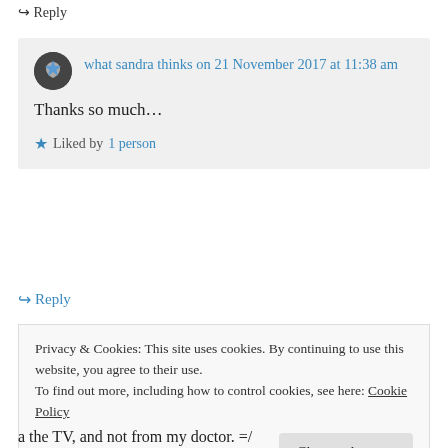↪ Reply
what sandra thinks on 21 November 2017 at 11:38 am
Thanks so much…
★ Liked by 1 person
↪ Reply
Privacy & Cookies: This site uses cookies. By continuing to use this website, you agree to their use. To find out more, including how to control cookies, see here: Cookie Policy
Close and accept
a the TV, and not from my doctor. =/